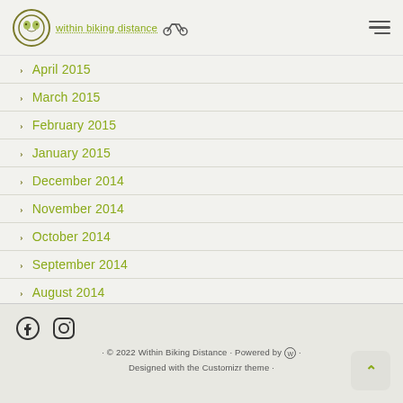within biking distance
April 2015
March 2015
February 2015
January 2015
December 2014
November 2014
October 2014
September 2014
August 2014
· © 2022 Within Biking Distance · Powered by [WordPress] · Designed with the Customizr theme ·